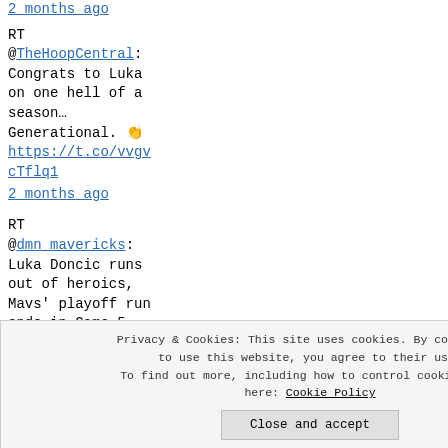2 months ago
RT @TheHoopCentral: Congrats to Luka on one hell of a season… Generational. 👏 https://t.co/vvgvcTflq1
2 months ago
RT @dmn_mavericks: Luka Doncic runs out of heroics, Mavs' playoff run ends in Game 5
[Figure (screenshot): White box / sidebar area on right column]
[Figure (logo): Fandom banner - orange background with white bold text FANDOM]
Privacy & Cookies: This site uses cookies. By continuing to use this website, you agree to their use. To find out more, including how to control cookies, see here: Cookie Policy
Close and accept